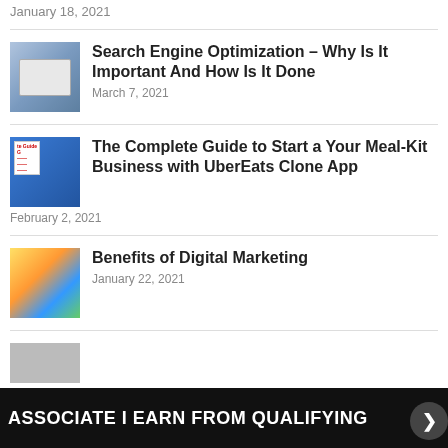January 18, 2021
Search Engine Optimization – Why Is It Important And How Is It Done
March 7, 2021
The Complete Guide to Start a Your Meal-Kit Business with UberEats Clone App
February 2, 2021
Benefits of Digital Marketing
January 22, 2021
ASSOCIATE I EARN FROM QUALIFYING